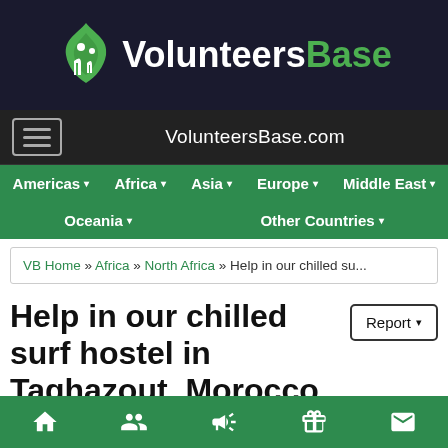[Figure (logo): VolunteersBase website header with green flame/people logo and text 'Volunteers Base' on dark background]
VolunteersBase.com
Americas ▾  Africa ▾  Asia ▾  Europe ▾  Middle East ▾  Oceania ▾  Other Countries ▾
VB Home » Africa » North Africa » Help in our chilled su...
Help in our chilled surf hostel in Taghazout, Morocco
Report ▾